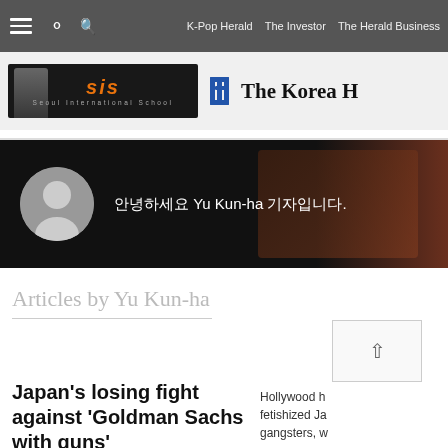K-Pop Herald  The Investor  The Herald Business
[Figure (logo): Seoul International School (SIS) banner advertisement with orange SIS logo text and student silhouette]
[Figure (logo): The Korea Herald logo with blue column emblem and blackletter text]
[Figure (photo): Profile banner with avatar silhouette, greeting text in Korean: 안녕하세요 Yu Kun-ha 기자입니다. Dark background with warm-toned background image.]
Articles by Yu Kun-ha
Japan’s losing fight against ‘Goldman Sachs with guns’
Hollywood h fetishized Ja gangsters, w